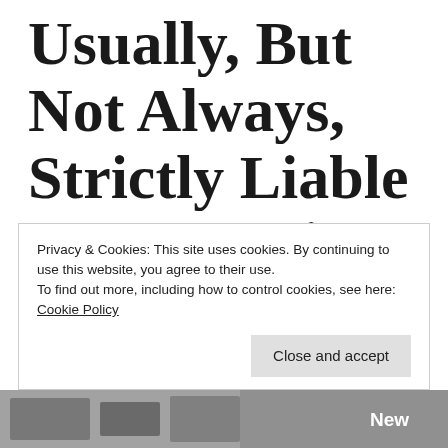Usually, But Not Always, Strictly Liable For Dog Bites
by: Peter J. Gallagher (@njsgallagher)
Privacy & Cookies: This site uses cookies. By continuing to use this website, you agree to their use.
To find out more, including how to control cookies, see here:
Cookie Policy
Close and accept